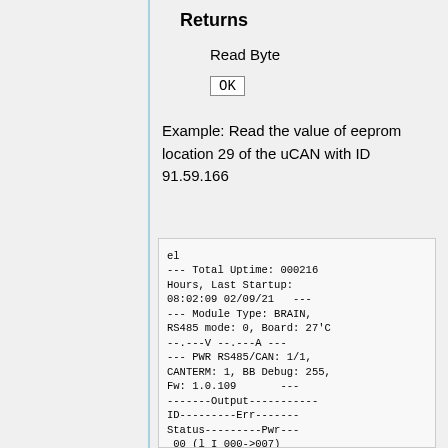Returns
Read Byte
OK
Example: Read the value of eeprom location 29 of the uCAN with ID 91.59.166
el
--- Total Uptime: 000216 Hours, Last Startup: 08:02:09 02/09/21   ---
--- Module Type: BRAIN, RS485 mode: 0, Board: 27'C --.---V --.---A ---
--- PWR RS485/CAN: 1/1, CANTERM: 1, BB Debug: 255, Fw: 1.0.109       ---
--------Output------------
ID---------Err--------Status---------Pwr---
 00 (l I 000->007)
108.000.000.000.00000